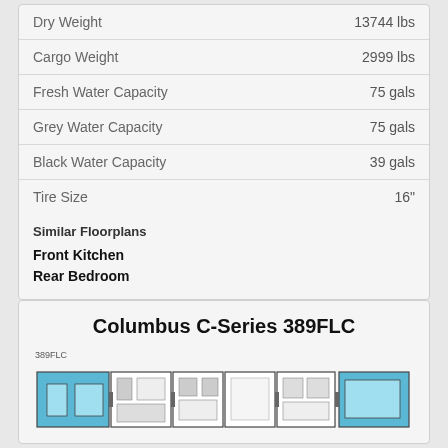| Spec | Value |
| --- | --- |
| Dry Weight | 13744 lbs |
| Cargo Weight | 2999 lbs |
| Fresh Water Capacity | 75 gals |
| Grey Water Capacity | 75 gals |
| Black Water Capacity | 39 gals |
| Tire Size | 16" |
Similar Floorplans
Front Kitchen
Rear Bedroom
Columbus C-Series 389FLC
[Figure (floorplan): Floorplan diagram of Columbus C-Series 389FLC showing layout with front kitchen and rear bedroom sections, labeled 389FLC]